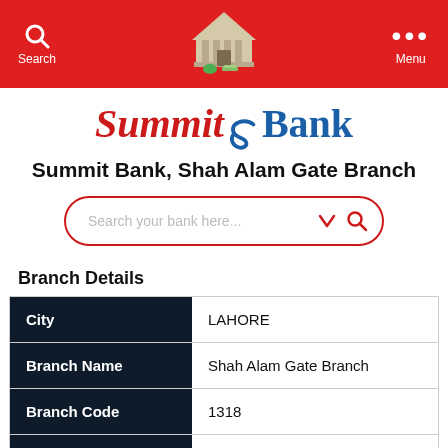Search  Menu
[Figure (logo): Summit Bank logo with red italic Summit text, stylized S icon, and blue Bank text]
Summit Bank, Shah Alam Gate Branch
Search your bank here...
Branch Details
|  |  |
| --- | --- |
| City | LAHORE |
| Branch Name | Shah Alam Gate Branch |
| Branch Code | 1318 |